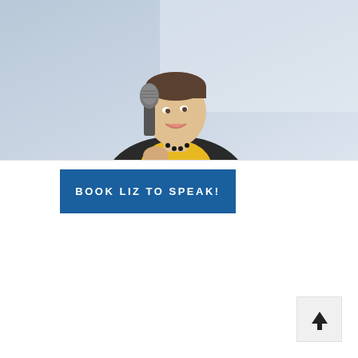[Figure (photo): Woman smiling and holding a microphone, wearing a yellow top and black cardigan with a beaded necklace, photographed from below]
BOOK LIZ TO SPEAK!
[Figure (logo): Liz Wolfe Coaching logo: circular icon with three stylized figures in blue, green, and gold/yellow, with text 'LIZ WOLFE COACHING' to the right]
[Figure (other): Back to top button with upward arrow icon]